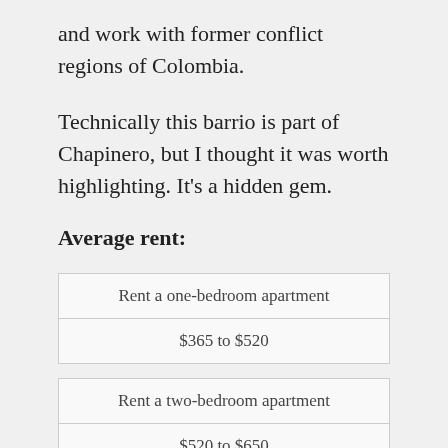and work with former conflict regions of Colombia.
Technically this barrio is part of Chapinero, but I thought it was worth highlighting. It's a hidden gem.
Average rent:
| Rent a one-bedroom apartment |
| --- |
| $365 to $520 |
| Rent a two-bedroom apartment |
| --- |
| $520 to $650 |